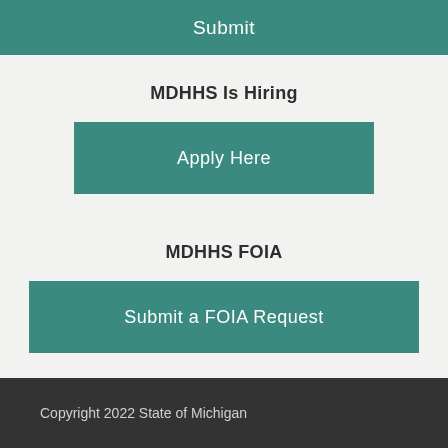Submit
MDHHS Is Hiring
Apply Here
MDHHS FOIA
Submit a FOIA Request
Copyright 2022 State of Michigan